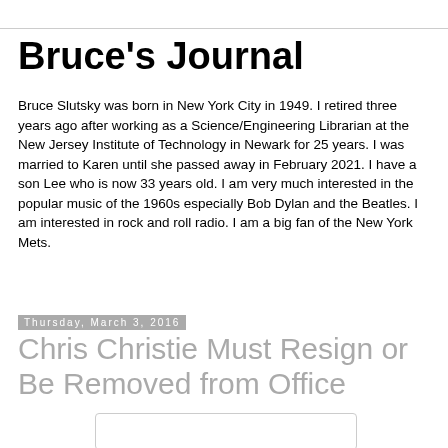Bruce's Journal
Bruce Slutsky was born in New York City in 1949. I retired three years ago after working as a Science/Engineering Librarian at the New Jersey Institute of Technology in Newark for 25 years. I was married to Karen until she passed away in February 2021. I have a son Lee who is now 33 years old. I am very much interested in the popular music of the 1960s especially Bob Dylan and the Beatles. I am interested in rock and roll radio. I am a big fan of the New York Mets.
Thursday, March 3, 2016
Chris Christie Must Resign or Be Removed from Office
[Figure (other): Image placeholder box at bottom of page]